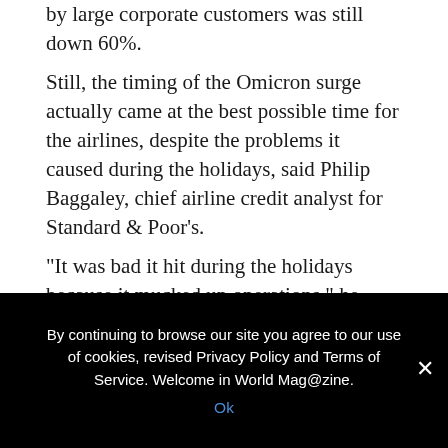by large corporate customers was still down 60%.
Still, the timing of the Omicron surge actually came at the best possible time for the airlines, despite the problems it caused during the holidays, said Philip Baggaley, chief airline credit analyst for Standard & Poor's.
“It was bad it hit during the holidays because it mucked up operations,” he said. “But because it involved holiday plans that had already been made, passengers plowed ahead. The demand was there.”
And January and February are historically the slowest time of the year for air travel, so the impact on bookings is limited, he said.
“The next six weeks were a lost cause anyhow,” he noted.
However Baggaley said there have been previous times during the
By continuing to browse our site you agree to our use of cookies, revised Privacy Policy and Terms of Service. Welcome in World Mag@zine.
Ok